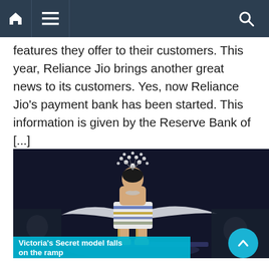Navigation bar with home, menu, and search icons
features they offer to their customers. This year, Reliance Jio brings another great news to its customers. Yes, now Reliance Jio's payment bank has been started. This information is given by the Reserve Bank of [...]
[Figure (photo): A Victoria's Secret model walking the runway in an elaborate white outfit with a large floral headdress made of white flowers, wearing a striped mini dress and gladiator sandals, on a dark stage.]
Victoria's Secret model falls on the ramp